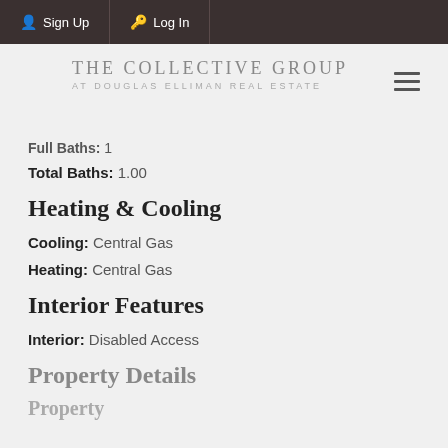Sign Up  Log In
[Figure (logo): The Collective Group at Douglas Elliman Real Estate logo]
Full Baths: 1
Total Baths: 1.00
Heating & Cooling
Cooling: Central Gas
Heating: Central Gas
Interior Features
Interior: Disabled Access
Property Details
Property